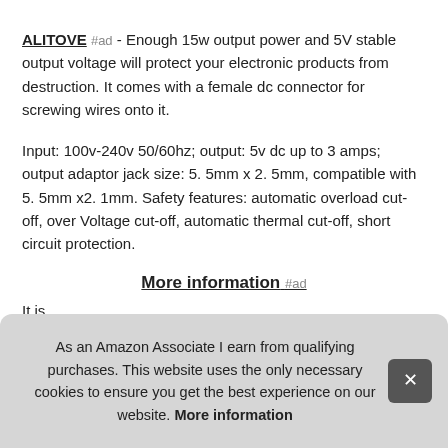ALITOVE #ad - Enough 15w output power and 5V stable output voltage will protect your electronic products from destruction. It comes with a female dc connector for screwing wires onto it.
Input: 100v-240v 50/60hz; output: 5v dc up to 3 amps; output adaptor jack size: 5. 5mm x 2. 5mm, compatible with 5. 5mm x2. 1mm. Safety features: automatic overload cut-off, over Voltage cut-off, automatic thermal cut-off, short circuit protection.
More information #ad
It is suc Pixe sold
As an Amazon Associate I earn from qualifying purchases. This website uses the only necessary cookies to ensure you get the best experience on our website. More information